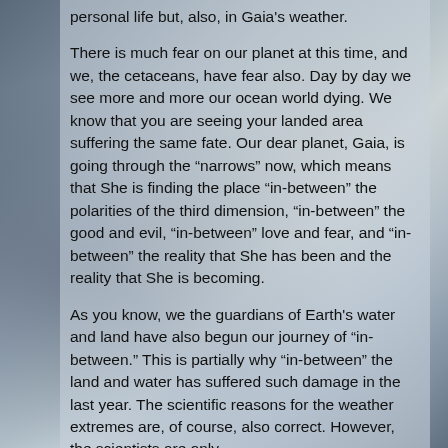personal life but, also, in Gaia's weather.
There is much fear on our planet at this time, and we, the cetaceans, have fear also. Day by day we see more and more our ocean world dying. We know that you are seeing your landed area suffering the same fate. Our dear planet, Gaia, is going through the “narrows” now, which means that She is finding the place “in-between” the polarities of the third dimension, “in-between” the good and evil, “in-between” love and fear, and “in-between” the reality that She has been and the reality that She is becoming.
As you know, we the guardians of Earth’s water and land have also begun our journey of “in-between.” This is partially why “in-between” the land and water has suffered such damage in the last year. The scientific reasons for the weather extremes are, of course, also correct. However, the scientists are only